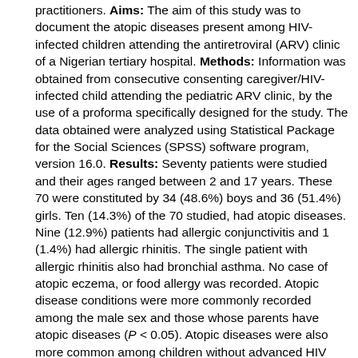practitioners. Aims: The aim of this study was to document the atopic diseases present among HIV-infected children attending the antiretroviral (ARV) clinic of a Nigerian tertiary hospital. Methods: Information was obtained from consecutive consenting caregiver/HIV-infected child attending the pediatric ARV clinic, by the use of a proforma specifically designed for the study. The data obtained were analyzed using Statistical Package for the Social Sciences (SPSS) software program, version 16.0. Results: Seventy patients were studied and their ages ranged between 2 and 17 years. These 70 were constituted by 34 (48.6%) boys and 36 (51.4%) girls. Ten (14.3%) of the 70 studied, had atopic diseases. Nine (12.9%) patients had allergic conjunctivitis and 1 (1.4%) had allergic rhinitis. The single patient with allergic rhinitis also had bronchial asthma. No case of atopic eczema, or food allergy was recorded. Atopic disease conditions were more commonly recorded among the male sex and those whose parents have atopic diseases (P < 0.05). Atopic diseases were also more common among children without advanced HIV diseases and those with eosinophilia. Cosmetic and psychological embarrassment from eye discoloration and itching were the negative impacts on the quality of living. Conclusion: Allergic conjunctivitis is common in HIV-infected Nigerian children. Atopies are more common in boys and